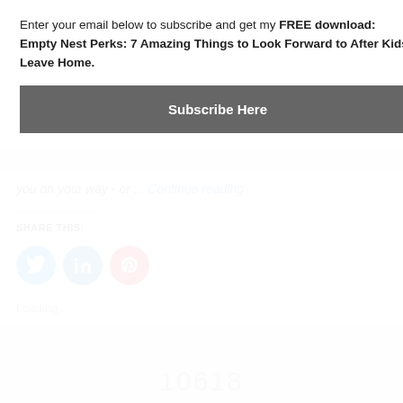Enter your email below to subscribe and get my FREE download: Empty Nest Perks: 7 Amazing Things to Look Forward to After Kids Leave Home.
Subscribe Here
you on your way - or ... Continue reading
SHARE THIS:
[Figure (infographic): Three social media share buttons: Twitter (blue circle), LinkedIn (dark blue circle), Pinterest (red circle)]
Loading...
10618